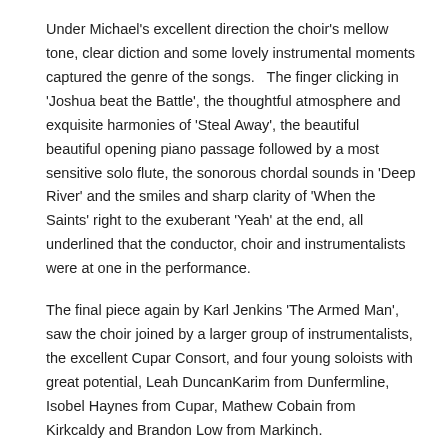Under Michael's excellent direction the choir's mellow tone, clear diction and some lovely instrumental moments captured the genre of the songs.   The finger clicking in 'Joshua beat the Battle', the thoughtful atmosphere and exquisite harmonies of 'Steal Away', the beautiful beautiful opening piano passage followed by a most sensitive solo flute, the sonorous chordal sounds in 'Deep River' and the smiles and sharp clarity of 'When the Saints' right to the exuberant 'Yeah' at the end, all underlined that the conductor, choir and instrumentalists were at one in the performance.
The final piece again by Karl Jenkins 'The Armed Man', saw the choir joined by a larger group of instrumentalists, the excellent Cupar Consort, and four young soloists with great potential, Leah DuncanKarim from Dunfermline, Isobel Haynes from Cupar, Mathew Cobain from Kirkcaldy and Brandon Low from Markinch.
This anti-war piece dedicated to the victims of Kosovo, uses the Catholic Mass as a framework alongside texts